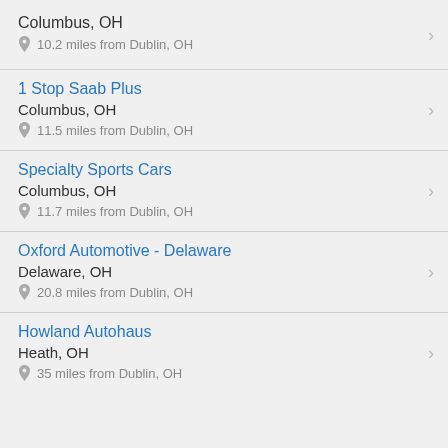Columbus, OH
10.2 miles from Dublin, OH
1 Stop Saab Plus
Columbus, OH
11.5 miles from Dublin, OH
Specialty Sports Cars
Columbus, OH
11.7 miles from Dublin, OH
Oxford Automotive - Delaware
Delaware, OH
20.8 miles from Dublin, OH
Howland Autohaus
Heath, OH
35 miles from Dublin, OH